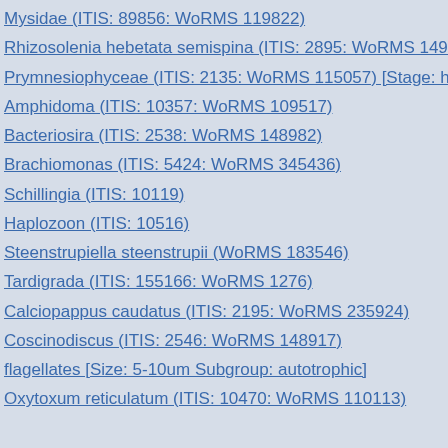Mysidae (ITIS: 89856: WoRMS 119822)
Rhizosolenia hebetata semispina (ITIS: 2895: WoRMS 149071) [Size:
Prymnesiophyceae (ITIS: 2135: WoRMS 115057) [Stage: holococcolith
Amphidoma (ITIS: 10357: WoRMS 109517)
Bacteriosira (ITIS: 2538: WoRMS 148982)
Brachiomonas (ITIS: 5424: WoRMS 345436)
Schillingia (ITIS: 10119)
Haplozoon (ITIS: 10516)
Steenstrupiella steenstrupii (WoRMS 183546)
Tardigrada (ITIS: 155166: WoRMS 1276)
Calciopappus caudatus (ITIS: 2195: WoRMS 235924)
Coscinodiscus (ITIS: 2546: WoRMS 148917)
flagellates [Size: 5-10um Subgroup: autotrophic]
Oxytoxum reticulatum (ITIS: 10470: WoRMS 110113)